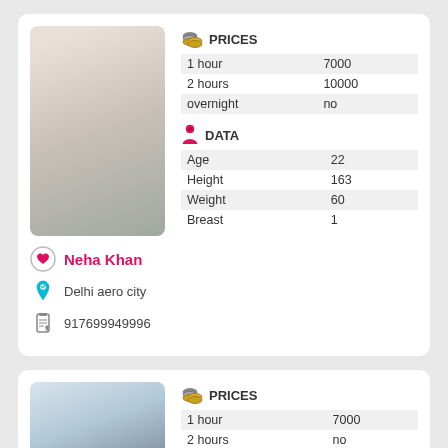[Figure (photo): Young woman in colorful top and black pants posing against white wall]
|  | PRICES |
| --- | --- |
| 1 hour | 7000 |
| 2 hours | 10000 |
| overnight | no |
|  | DATA |
| --- | --- |
| Age | 22 |
| Height | 163 |
| Weight | 60 |
| Breast | 1 |
Neha Khan
Delhi aero city
917699949996
[Figure (photo): Woman in black dress standing near tall glass buildings]
|  | PRICES |
| --- | --- |
| 1 hour | 7000 |
| 2 hours | no |
| overnight | no |
DATA